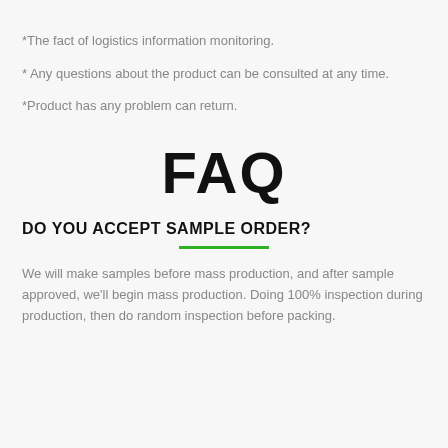*The fact of logistics information monitoring.
* Any questions about the product can be consulted at any time.
*Product has any problem can return.
FAQ
DO YOU ACCEPT SAMPLE ORDER?
We will make samples before mass production, and after sample approved, we'll begin mass production. Doing 100% inspection during production, then do random inspection before packing.